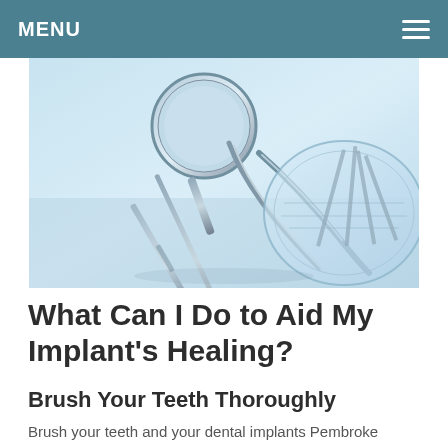MENU
[Figure (photo): Close-up photo of dental/medical instruments including a dental mirror, probes, and a petri dish on a light blue background]
What Can I Do to Aid My Implant's Healing?
Brush Your Teeth Thoroughly
Brush your teeth and your dental implants Pembroke